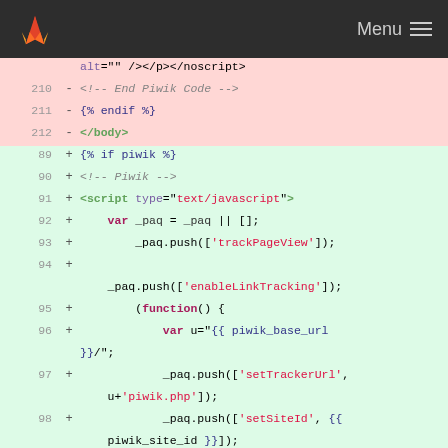GitLab navbar with Menu
[Figure (screenshot): GitLab diff view showing removed lines 210-212 and added lines 89-99 of Piwik tracking code changes in a template file]
alt="" /></p></noscript>
210 - <!-- End Piwik Code -->
211 - {% endif %}
212 - </body>
89 + {% if piwik %}
90 + <!-- Piwik -->
91 + <script type="text/javascript">
92 + var _paq = _paq || [];
93 + _paq.push(['trackPageView']);
94 +
    _paq.push(['enableLinkTracking']);
95 + (function() {
96 + var u="{{ piwik_base_url }}/";
97 + _paq.push(['setTrackerUrl', u+'piwik.php']);
98 + _paq.push(['setSiteId', {{ piwik_site_id }}]);
99 + var d=document, g=d.createElement('script'),